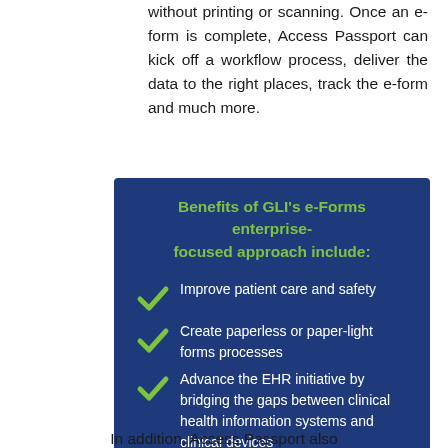without printing or scanning. Once an e-form is complete, Access Passport can kick off a workflow process, deliver the data to the right places, track the e-form and much more.
[Figure (infographic): Dark blue box with green title 'Benefits of GLI's e-Forms enterprise-focused approach include:' and three bullet points with green checkmarks: 'Improve patient care and safety', 'Create paperless or paper-light forms processes', 'Advance the EHR initiative by bridging the gaps between clinical health information systems and clinical devices']
In addition, Access Passport also